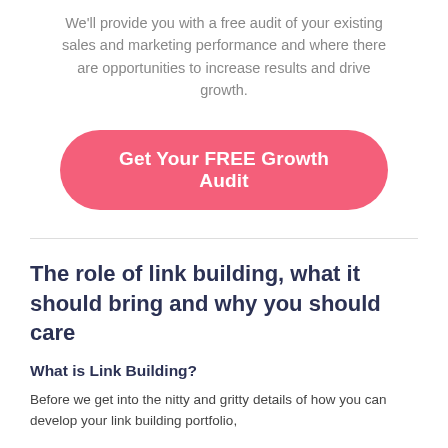We'll provide you with a free audit of your existing sales and marketing performance and where there are opportunities to increase results and drive growth.
Get Your FREE Growth Audit
The role of link building, what it should bring and why you should care
What is Link Building?
Before we get into the nitty and gritty details of how you can develop your link building portfolio,